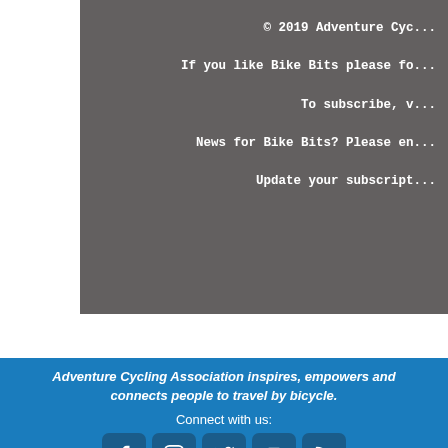© 2019 Adventure Cyc...
If you like Bike Bits please fo...
To subscribe, v...
News for Bike Bits? Please en...
Update your subscript...
Adventure Cycling Association inspires, empowers and connects people to travel by bicycle.
Connect with us:
[Figure (other): Social media icons: Facebook, Instagram, Twitter, YouTube, RSS feed]